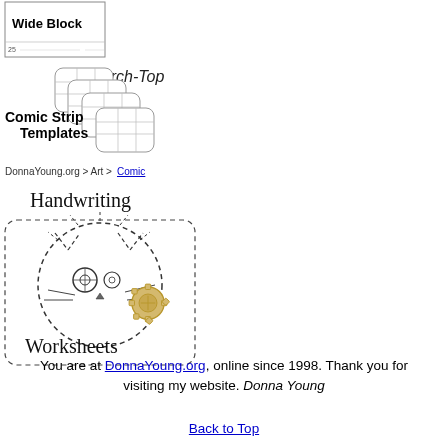[Figure (illustration): Comic strip templates illustration showing stacked panels with 'Wide Block' label, 'Arch-Top' label, and 'Comic Strip Templates' text, with breadcrumb 'DonnaYoung.org > Art > Comic']
[Figure (illustration): Handwriting worksheets illustration showing a dashed-line drawing of a cat face with a gear, with 'Handwriting' and 'Worksheets' text in handwritten style]
You are at DonnaYoung.org, online since 1998. Thank you for visiting my website. Donna Young
Back to Top